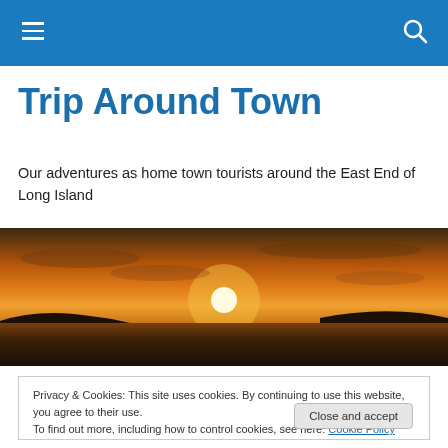Trip Around Town – navigation header bar
Trip Around Town
Our adventures as home town tourists around the East End of Long Island
[Figure (photo): Panoramic sunset over water with orange sky and silhouetted land]
Privacy & Cookies: This site uses cookies. By continuing to use this website, you agree to their use.
To find out more, including how to control cookies, see here: Cookie Policy
Close and accept